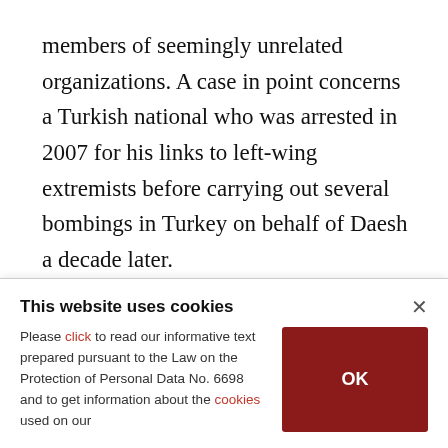members of seemingly unrelated organizations. A case in point concerns a Turkish national who was arrested in 2007 for his links to left-wing extremists before carrying out several bombings in Turkey on behalf of Daesh a decade later.

To ensure that foreign fighters returning home after fighting within the YPG ranks in Syria do not radicalize a new generation of young Europeans, all concerned countries must follow in the U.K.'s
This website uses cookies
Please click to read our informative text prepared pursuant to the Law on the Protection of Personal Data No. 6698 and to get information about the cookies used on our